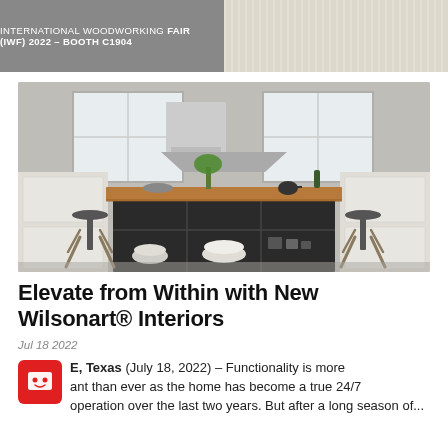INTERNATIONAL WOODWORKING FAIR (IWF) 2022 – BOOTH C1904
[Figure (photo): Modern kitchen interior with a dark island featuring open shelving and a wood-topped counter, two bar stools, white cabinetry, and large windows in the background]
Elevate from Within with New Wilsonart® Interiors
Jul 18 2022
TEMPLE, Texas (July 18, 2022) – Functionality is more important than ever as the home has become a true 24/7 operation over the last two years. But after a long season of...